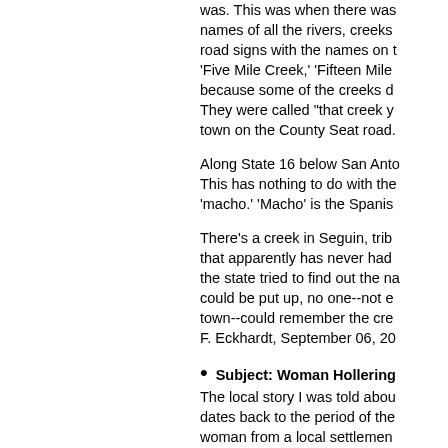was. This was when there was names of all the rivers, creeks road signs with the names on t 'Five Mile Creek,' 'Fifteen Mile because some of the creeks d They were called "that creek y town on the County Seat road.
Along State 16 below San Anto This has nothing to do with the 'macho.' 'Macho' is the Spanis
There's a creek in Seguin, trib that apparently has never had the state tried to find out the na could be put up, no one--not e town--could remember the cre F. Eckhardt, September 06, 20
Subject: Woman Hollering The local story I was told abou dates back to the period of the woman from a local settlemen named in the story I heard--wa possibly Comanches. Her hus the settlement pursued the In